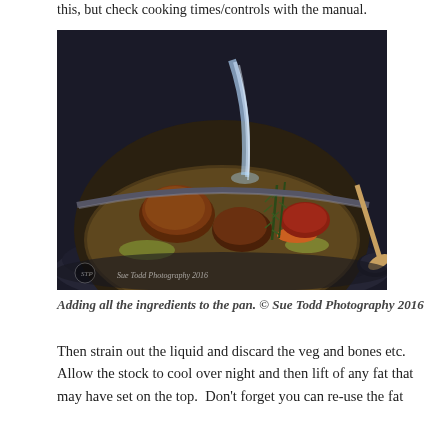this, but check cooking times/controls with the manual.
[Figure (photo): A dark braising pan/casserole dish with meat pieces, rosemary sprigs, vegetables, and water being poured in. A wooden spoon is visible on the right. Watermark reads: Sue Todd Photography 2016.]
Adding all the ingredients to the pan. © Sue Todd Photography 2016
Then strain out the liquid and discard the veg and bones etc.  Allow the stock to cool over night and then lift of any fat that may have set on the top.  Don't forget you can re-use the fat for cooking – and there's nothing better!